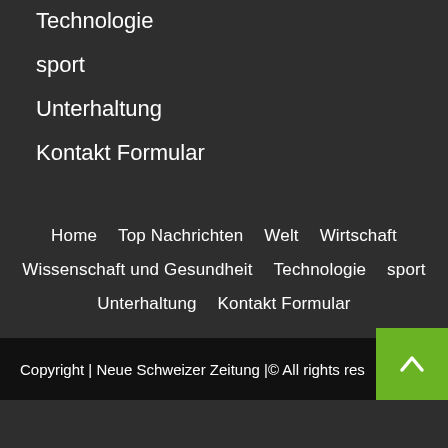Technologie
sport
Unterhaltung
Kontakt Formular
Home   Top Nachrichten   Welt   Wirtschaft   Wissenschaft und Gesundheit   Technologie   sport   Unterhaltung   Kontakt Formular
Copyright | Neue Schweizer Zeitung |© All rights reserved